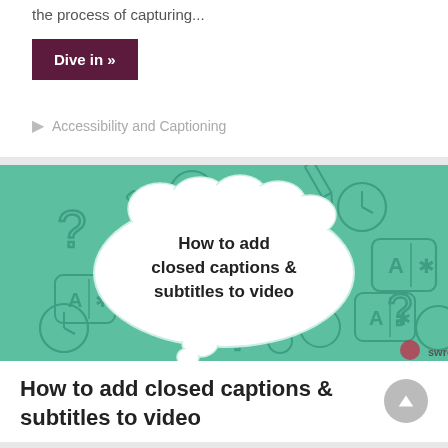the process of capturing...
Dive in »
Accessibility and Captioning
[Figure (illustration): Decorative illustration on teal/mint background showing a speech-bubble cloud with text 'How to add closed captions & subtitles to video', surrounded by icons: question marks, clocks, pencils, translation boxes (A|*), and circles.]
How to add closed captions & subtitles to video